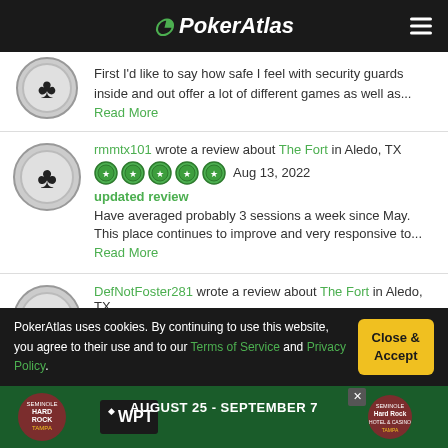PokerAtlas
First I'd like to say how safe I feel with security guards inside and out offer a lot of different games as well as... Read More
rmmtx101 wrote a review about The Fort in Aledo, TX — Aug 13, 2022 — updated review — Have averaged probably 3 sessions a week since May. This place continues to improve and very responsive to... Read More
DefNotFoster281 wrote a review about The Fort in Aledo, TX — Aug 6, 2022 — Stack size doesn't matter, as long as you're all in
PokerAtlas uses cookies. By continuing to use this website, you agree to their use and to our Terms of Service and Privacy Policy.
[Figure (screenshot): WPT Hard Rock Tampa August 25 - September 7 advertisement banner]